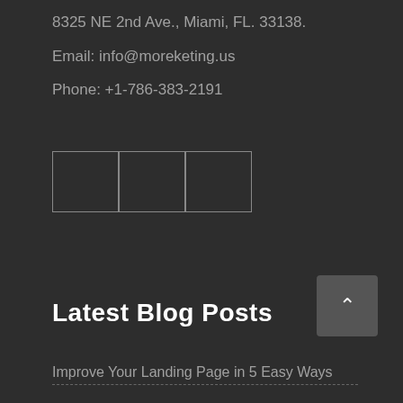8325 NE 2nd Ave., Miami, FL. 33138.
Email: info@moreketing.us
Phone: +1-786-383-2191
[Figure (other): Three empty social media icon boxes arranged horizontally with light borders]
Latest Blog Posts
Improve Your Landing Page in 5 Easy Ways